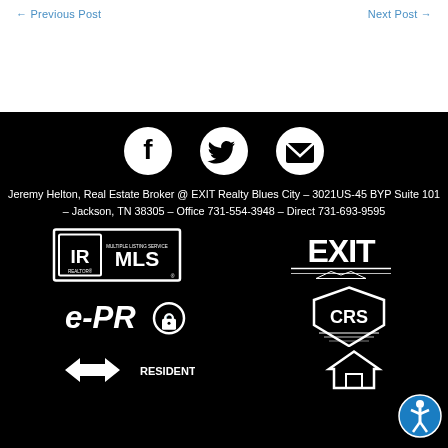← Previous Post   Next Post →
[Figure (logo): Social media icons: Facebook, Twitter, Email (white circles on black background)]
Jeremy Helton, Real Estate Broker @ EXIT Realty Blues City – 3021US-45 BYP Suite 101 – Jackson, TN 38305 – Office 731-554-3948 – Direct 731-693-9595
[Figure (logo): Realtor MLS logo (white on black)]
[Figure (logo): EXIT Realty logo (white on black)]
[Figure (logo): e-PRO logo (white on black)]
[Figure (logo): CRS logo (white on black)]
[Figure (logo): Residential logo partial (white on black)]
[Figure (logo): House/equal housing logo partial (white on black)]
[Figure (infographic): Accessibility button (circular blue icon with person figure)]